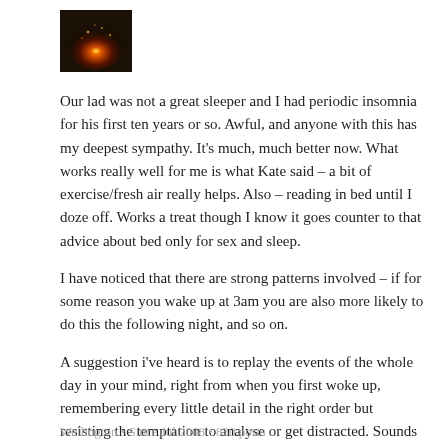[Figure (photo): Small square avatar image showing an orange glowing fire or galaxy-like image on a dark background]
Our lad was not a great sleeper and I had periodic insomnia for his first ten years or so. Awful, and anyone with this has my deepest sympathy. It's much, much better now. What works really well for me is what Kate said – a bit of exercise/fresh air really helps. Also – reading in bed until I doze off. Works a treat though I know it goes counter to that advice about bed only for sex and sleep.
I have noticed that there are strong patterns involved – if for some reason you wake up at 3am you are also more likely to do this the following night, and so on.
A suggestion i've heard is to replay the events of the whole day in your mind, right from when you first woke up, remembering every little detail in the right order but resisting the temptation to analyse or get distracted. Sounds a bit weird but it did seem to work at calming thought patterns.
Wellington • Since Jul 2008 • 830 posts